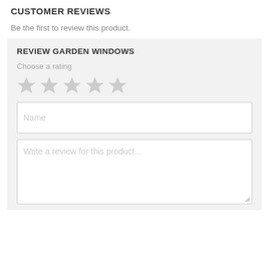CUSTOMER REVIEWS
Be the first to review this product.
REVIEW GARDEN WINDOWS
Choose a rating
[Figure (other): Five gray star rating icons in a row]
Name
Write a review for this product...